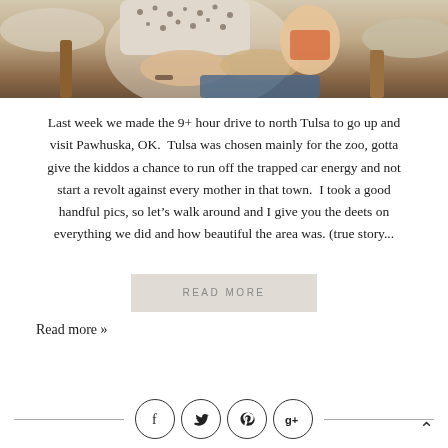[Figure (photo): A person holding a child/infant, seated indoors, wooden furniture visible in background. Cropped view showing torsos and hands.]
Last week we made the 9+ hour drive to north Tulsa to go up and visit Pawhuska, OK.  Tulsa was chosen mainly for the zoo, gotta give the kiddos a chance to run off the trapped car energy and not start a revolt against every mother in that town.  I took a good handful pics, so let’s walk around and I give you the deets on everything we did and how beautiful the area was. (true story...
READ MORE
Read more »
Social icons: Facebook, Twitter, Pinterest, Google+